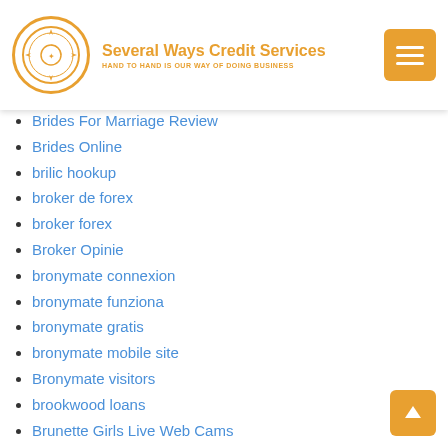Several Ways Credit Services — HAND TO HAND IS OUR WAY OF DOING BUSINESS
Brides For Marriage Review
Brides Online
brilic hookup
broker de forex
broker forex
Broker Opinie
bronymate connexion
bronymate funziona
bronymate gratis
bronymate mobile site
Bronymate visitors
brookwood loans
Brunette Girls Live Web Cams
Brunette Girls Live XXX Video
Brunette Live Webcam Chat
Brunette XXX Live Video
Brunette XXX Webcam Chat Rooms
Buddhist-Dating kosten
bumble hookup hotshot